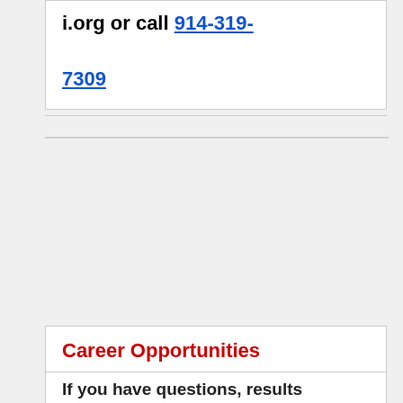i.org or call 914-319-7309
Career Opportunities
If you have questions, results...